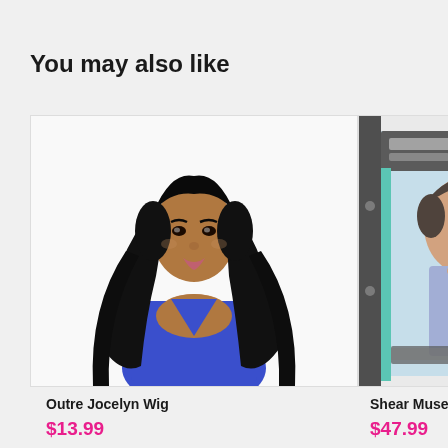You may also like
[Figure (photo): Product photo of a woman wearing the Outre Jocelyn Wig, long black wavy hair, blue dress, white background]
Outre Jocelyn Wig
$13.99
[Figure (photo): Partially visible product packaging for Shear Muse Ronae wig, showing model with short hair, blurred/cut off on right edge]
Shear Muse Ronae
$47.99